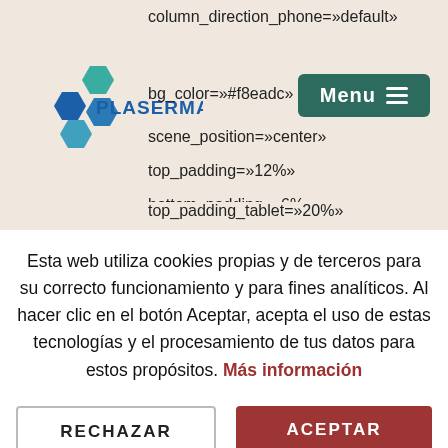[Figure (screenshot): Plaserman website header with hexagon logo and dark green Menu button]
column_direction_phone=»default»
bg_color=»#f8eadc»
scene_position=»center»
top_padding=»12%»
bottom_padding=»6%»
top_padding_tablet=»20%»
Esta web utiliza cookies propias y de terceros para su correcto funcionamiento y para fines analíticos. Al hacer clic en el botón Aceptar, acepta el uso de estas tecnologías y el procesamiento de tus datos para estos propósitos. Más información